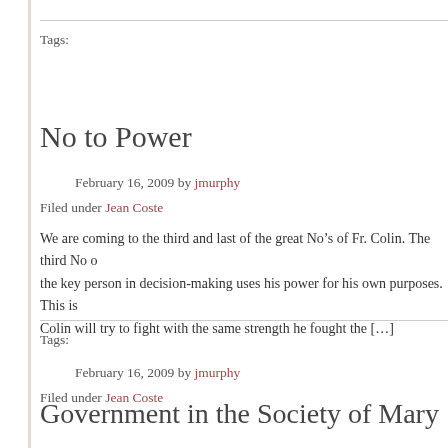Tags:
No to Power
February 16, 2009 by jmurphy
Filed under Jean Coste
We are coming to the third and last of the great No’s of Fr. Colin. The third No of the key person in decision-making uses his power for his own purposes. This is Colin will try to fight with the same strength he fought the […]
Tags:
Government in the Society of Mary
February 16, 2009 by jmurphy
Filed under Jean Coste
We are trying to explore Colin’s original vision and its implication for our life today implication of Colin’s vision at the level of structure. We have seen that the co